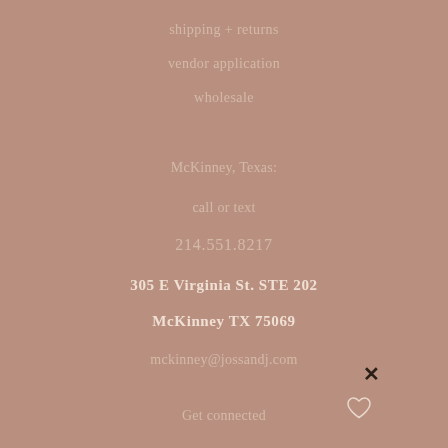shipping + returns
vendor application
wholesale
McKinney, Texas:
call or text
214.551.8217
305 E Virginia St. STE 202
McKinney TX 75069
mckinney@jossandj.com
Get connected